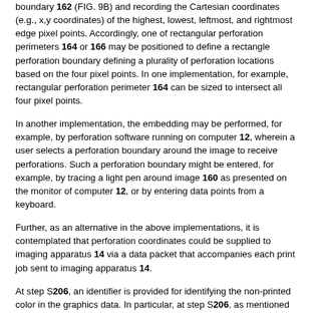boundary 162 (FIG. 9B) and recording the Cartesian coordinates (e.g., x,y coordinates) of the highest, lowest, leftmost, and rightmost edge pixel points. Accordingly, one of rectangular perforation perimeters 164 or 166 may be positioned to define a rectangle perforation boundary defining a plurality of perforation locations based on the four pixel points. In one implementation, for example, rectangular perforation perimeter 164 can be sized to intersect all four pixel points.
In another implementation, the embedding may be performed, for example, by perforation software running on computer 12, wherein a user selects a perforation boundary around the image to receive perforations. Such a perforation boundary might be entered, for example, by tracing a light pen around image 160 as presented on the monitor of computer 12, or by entering data points from a keyboard.
Further, as an alternative in the above implementations, it is contemplated that perforation coordinates could be supplied to imaging apparatus 14 via a data packet that accompanies each print job sent to imaging apparatus 14.
At step S206, an identifier is provided for identifying the non-printed color in the graphics data. In particular, at step S206, as mentioned above, software operating on computer 12, such as in the printer driver, automatically embeds the identifier as a predefined color sequence proceeded (or